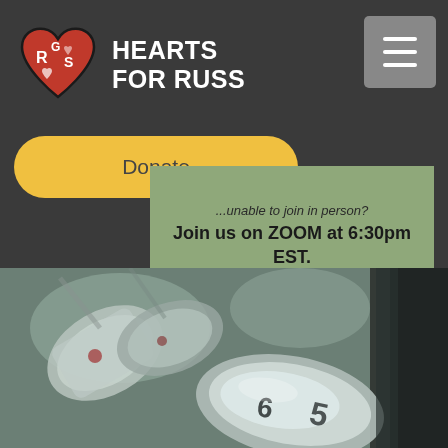HEARTS FOR RUSS
Donate
...unable to join in person? Join us on ZOOM at 6:30pm EST.
Zoom Registration
[Figure (photo): Close-up photograph of golf club irons (numbers 5, 6 visible) clustered together, metallic silver finish with blurred background]